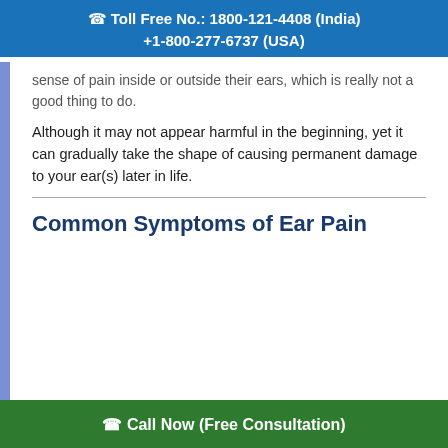Toll Free No.: 1800-121-4408 (India)
+1-800-277-6737 (USA)
sense of pain inside or outside their ears, which is really not a good thing to do.
Although it may not appear harmful in the beginning, yet it can gradually take the shape of causing permanent damage to your ear(s) later in life.
Common Symptoms of Ear Pain
Call Now (Free Consultation)